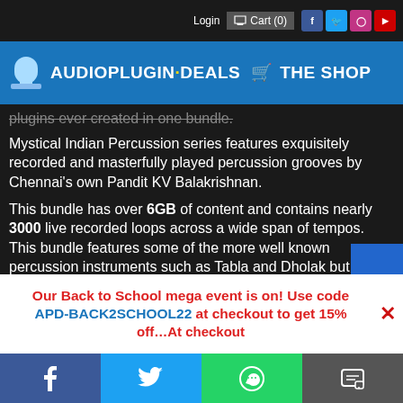AUDIOPLUGIN·DEALS THE SHOP — Login Cart (0)
plugins ever created in one bundle.
Mystical Indian Percussion series features exquisitely recorded and masterfully played percussion grooves by Chennai's own Pandit KV Balakrishnan.
This bundle has over 6GB of content and contains nearly 3000 live recorded loops across a wide span of tempos. This bundle features some of the more well known percussion instruments such as Tabla and Dholak but also offers so much more including Mridangam, Cabasa, D... Tarang, Ghata Singan, Kanjira, Moonoos, Sh...
Accept and Close ✕
Your browser settings do not allow cross-site tracking for advertising. Click on this page to allow AdRoll to use cross-site tracking to tailor ads to you. Learn more or opt out of this AdRoll tracking by clicking here. This message only appears once.
This is a limited-time offer you should not miss, hurry and
Our Back to School mega event is on! Use code APD-BACK2SCHOOL22 at checkout to get 15% off…
Facebook | Twitter | WhatsApp | SMS